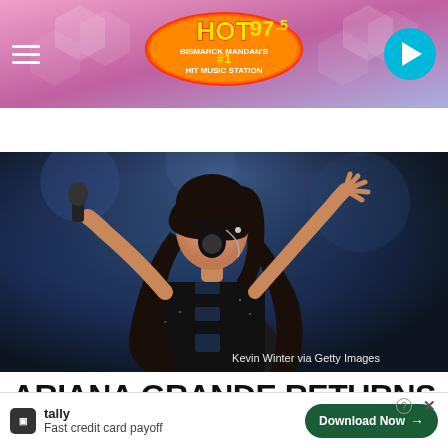HOT 97.5 Bismarck Mandan's #1 Hit Music Station
LISTEN NOW ▶  MATT RYAN
[Figure (photo): Ariana Grande performing on stage, singing into a microphone with one hand raised, wearing a black outfit, long dark hair, on a dark stage with blue lighting. Photo credit: Kevin Winter via Getty Images]
ARIANA GRANDE RETURNS TO INSTAGRAM AFTER MONTHS
🔲 tally  Fast credit card payoff
Download Now →